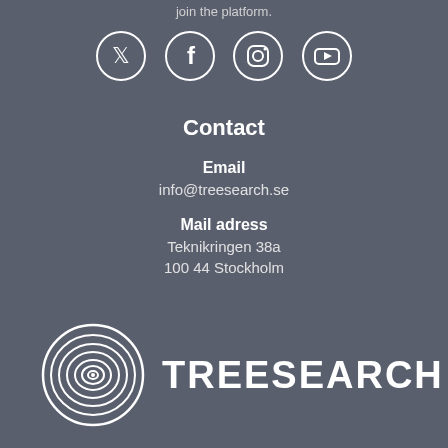join the platform.
[Figure (illustration): Four social media icons in circles: Twitter, Facebook, Instagram, YouTube]
Contact
Email
info@treesearch.se
Mail adress
Teknikringen 38a
100 44 Stockholm
[Figure (logo): Treesearch logo with tree ring icon and TREESEARCH text]